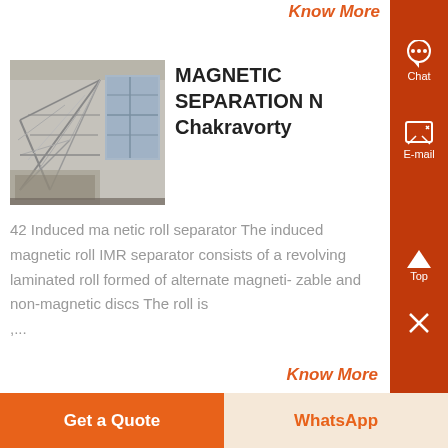Know More
[Figure (photo): Industrial magnetic separation equipment - structural steel framework with machinery]
MAGNETIC SEPARATION N Chakravorty
42 Induced ma netic roll separator The induced magnetic roll IMR separator consists of a revolving laminated roll formed of alternate magneti- zable and non-magnetic discs The roll is ....
Know More
Get a Quote
WhatsApp